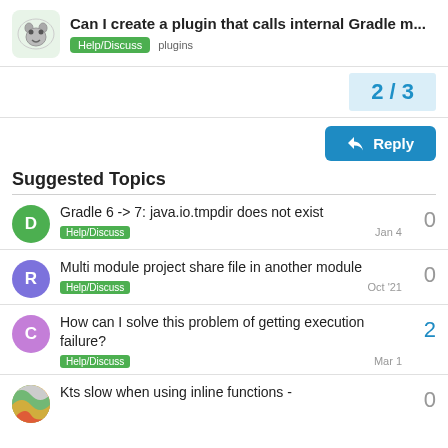Can I create a plugin that calls internal Gradle m... Help/Discuss plugins
2 / 3
Reply
Suggested Topics
Gradle 6 -> 7: java.io.tmpdir does not exist
Help/Discuss
Jan 4
0
Multi module project share file in another module
Help/Discuss
Oct '21
0
How can I solve this problem of getting execution failure?
Help/Discuss
Mar 1
2
Kts slow when using inline functions -
0